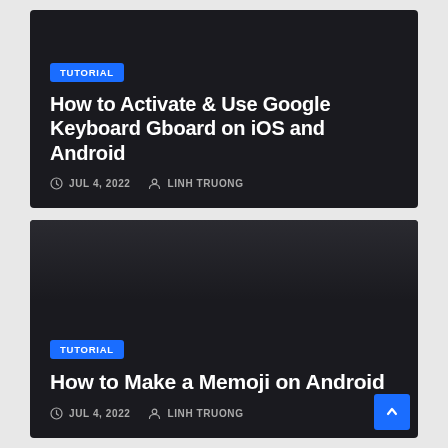[Figure (screenshot): Dark card for tutorial article: 'How to Activate & Use Google Keyboard Gboard on iOS and Android', dated JUL 4, 2022 by LINH TRUONG, with TUTORIAL badge]
How to Activate & Use Google Keyboard Gboard on iOS and Android
JUL 4, 2022  LINH TRUONG
[Figure (screenshot): Dark card for tutorial article: 'How to Make a Memoji on Android', dated JUL 4, 2022 by LINH TRUONG, with TUTORIAL badge]
How to Make a Memoji on Android
JUL 4, 2022  LINH TRUONG